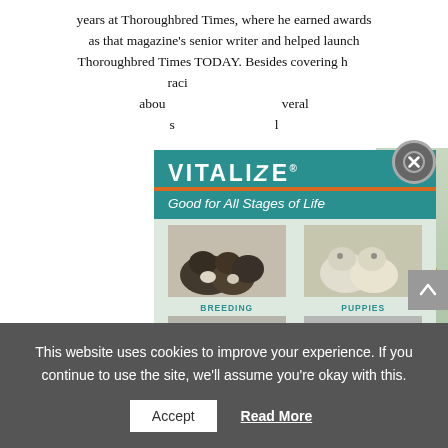years at Thoroughbred Times, where he earned awards as that magazine's senior writer and helped launch Thoroughbred Times TODAY. Besides covering h... raci... abou... several s... l
[Figure (advertisement): Vitalize dog supplement advertisement. Teal header with 'VITALIZE Good for All Stages of Life' tagline with orange divider bar. Shows four dog life stages: Breeding (Bernese mountain dog puppies), Puppies (white lab puppies), Adult Dogs (Rottweiler), Senior Dogs (older spaniel). Golden retriever running on right side. Product container (white tub labeled Vitalize) shown at bottom right.]
[Figure (other): Close button (X in circle) for dismissing the advertisement overlay]
se
This website uses cookies to improve your experience. If you continue to use the site, we'll assume you're okay with this.
Accept    Read More